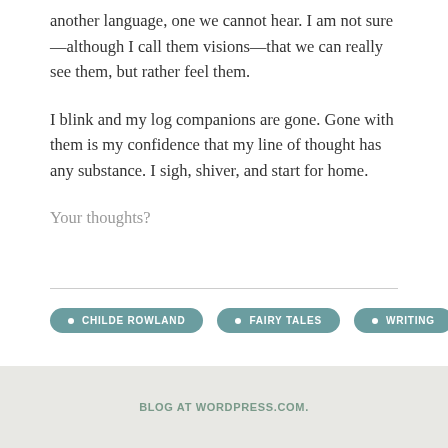another language, one we cannot hear. I am not sure—although I call them visions—that we can really see them, but rather feel them.
I blink and my log companions are gone. Gone with them is my confidence that my line of thought has any substance. I sigh, shiver, and start for home.
Your thoughts?
CHILDE ROWLAND
FAIRY TALES
WRITING
BLOG AT WORDPRESS.COM.